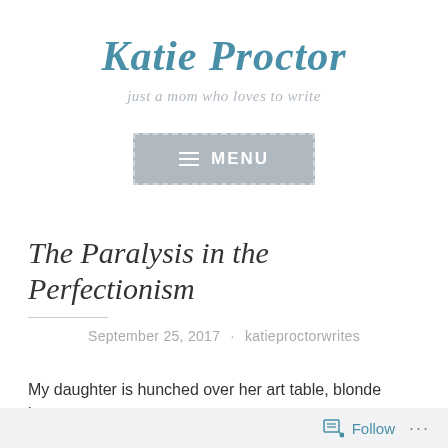Katie Proctor
just a mom who loves to write
[Figure (screenshot): Navigation menu button with hamburger icon and MENU text, grey background with dashed border]
The Paralysis in the Perfectionism
September 25, 2017 · katieproctorwrites
My daughter is hunched over her art table, blonde bangs
Follow ...